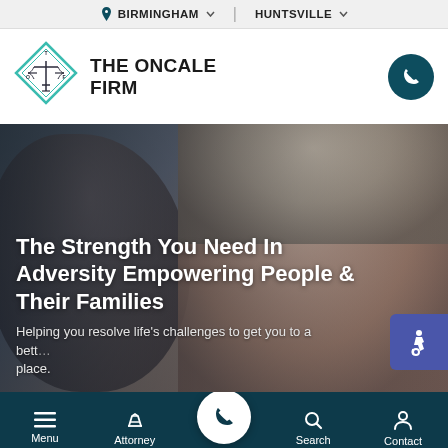BIRMINGHAM  |  HUNTSVILLE
[Figure (logo): The Oncale Firm diamond logo with scales of justice icon]
THE ONCALE FIRM
[Figure (photo): Hero image showing two people in distress — a blurred male figure in background and a worried woman holding her head in foreground]
The Strength You Need In Adversity Empowering People & Their Families
Helping you resolve life's challenges to get you to a better place.
Menu  Attorney  (phone)  Search  Contact